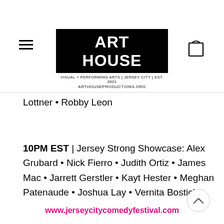[Figure (logo): Art House Productions logo — white text 'ART HOUSE' on black rectangle, tagline 'VISUAL + PERFORMING ARTS | JERSEY CITY | EST. 2001' and URL 'ARTHOUSEPRODUCTIONS.ORG' below]
Lottner • Robby Leon
10PM EST | Jersey Strong Showcase: Alex Grubard • Nick Fierro • Judith Ortiz • James Mac • Jarrett Gerstler • Kayt Hester • Meghan Patenaude • Joshua Lay • Vernita Bostick
www.jerseycitycomedyfestival.com